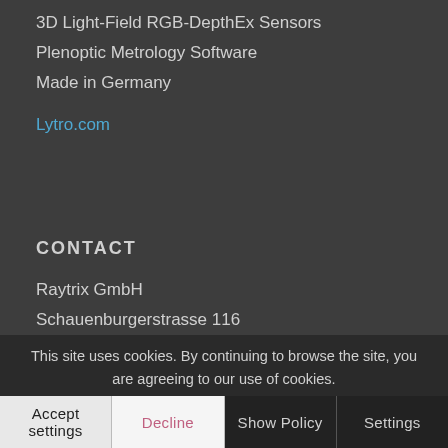3D Light-Field RGB-DepthEx Sensors
Plenoptic Metrology Software
Made in Germany
Lytro.com
CONTACT
Raytrix GmbH
Schauenburgerstrasse 116
24118 Kiel
Germany
info@raytrix.de
Tel: 0049 431 5606 240
Fax: 0049 431 20060039
This site uses cookies. By continuing to browse the site, you are agreeing to our use of cookies.
Accept settings | Decline | Show Policy | Settings